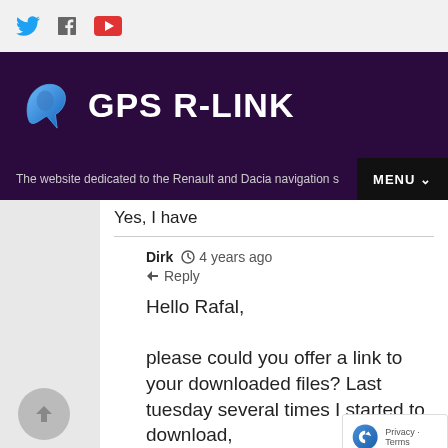GPS R-LINK — The website dedicated to the Renault and Dacia navigation systems
Yes, I have
Dirk  4 years ago  Reply
Hello Rafal,

please could you offer a link to your downloaded files? Last tuesday several times I started to download,